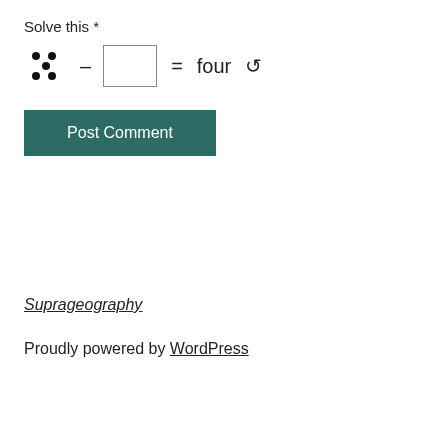Solve this *
[Figure (other): CAPTCHA puzzle showing five dots arranged in a dice-5 pattern, minus sign, empty input box, equals sign, and the word 'four', followed by a refresh icon]
Post Comment
Suprageography
Proudly powered by WordPress